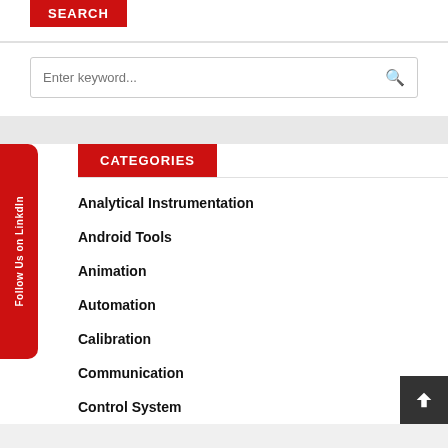SEARCH
Enter keyword...
CATEGORIES
Analytical Instrumentation
Android Tools
Animation
Automation
Calibration
Communication
Control System